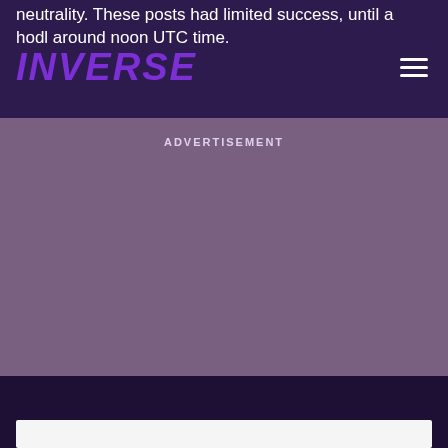neutrality. These posts had limited success, until a hodl around noon UTC time.
INVERSE
ADVERTISEMENT
[Figure (other): Advertisement placeholder area with muted purple/grey background]